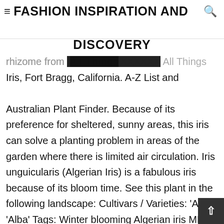≡ FASHION INSPIRATION AND DISCOVERY
rhizome from [blocked text] All Things Iris, Fort Bragg, California. A-Z List and Australian Plant Finder. Because of its preference for sheltered, sunny areas, this iris can solve a planting problem in areas of the garden where there is limited air circulation. Iris unguicularis (Algerian Iris) is a fabulous iris because of its bloom time. See this plant in the following landscape: Cultivars / Varieties: 'Alba' 'Alba' Tags: Winter blooming Algerian iris ML. Cottage/Informal, Flower Arranging, Beds and borders, Wallside and trellises, Coastal, City.